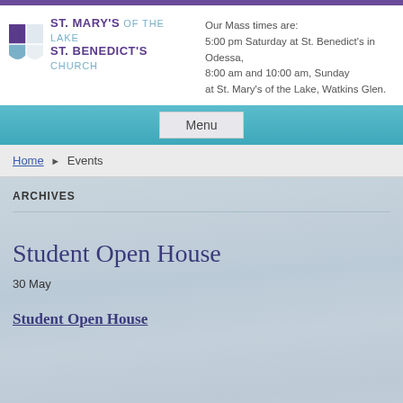[Figure (logo): St. Mary's of the Lake / St. Benedict's Church logo with shield icon]
Our Mass times are:
5:00 pm Saturday at St. Benedict's in Odessa,
8:00 am and 10:00 am, Sunday
at St. Mary's of the Lake, Watkins Glen.
Menu
Home ▶ Events
ARCHIVES
Student Open House
30 May
Student Open House